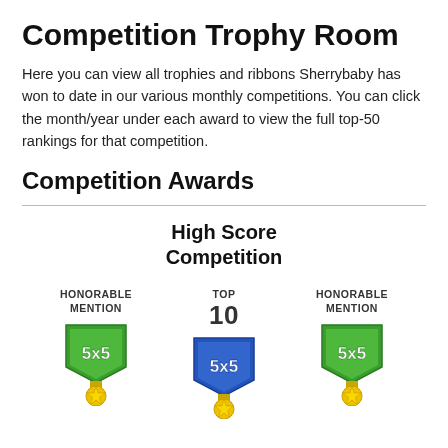Competition Trophy Room
Here you can view all trophies and ribbons Sherrybaby has won to date in our various monthly competitions. You can click the month/year under each award to view the full top-50 rankings for that competition.
Competition Awards
High Score Competition
[Figure (illustration): Three 5x5 competition medals in a row. Left: green shield with '5x5' text, gold star medal below, labeled 'HONORABLE MENTION'. Center: blue shield with '5x5' text, gold star medal below, labeled 'TOP 10'. Right: green shield with '5x5' text, gold star medal below, labeled 'HONORABLE MENTION'.]